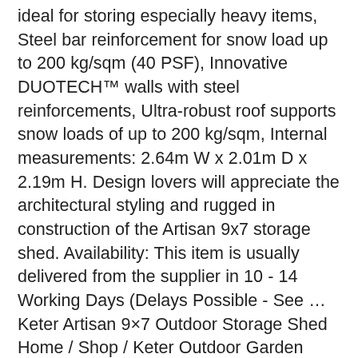ideal for storing especially heavy items, Steel bar reinforcement for snow load up to 200 kg/sqm (40 PSF), Innovative DUOTECH™ walls with steel reinforcements, Ultra-robust roof supports snow loads of up to 200 kg/sqm, Internal measurements: 2.64m W x 2.01m D x 2.19m H. Design lovers will appreciate the architectural styling and rugged in construction of the Artisan 9x7 storage shed. Availability: This item is usually delivered from the supplier in 10 - 14 Working Days (Delays Possible - See … Keter Artisan 9×7 Outdoor Storage Shed Home / Shop / Keter Outdoor Garden Plastic Storage Sheds / Keter Artisan Sheds / Keter Artisan 9×7 Outdoor Storage Shed From: $ 2,989.00 compare prices for Keter Artisan shed 9x7 grey (17204256) Product info ⇒ Colour: grey • Frame: plastic • Features: weatherproof, UV-resistant, lockable • Front door: double swing… Garden Sheds Product tests Buy inexpensively mobile storage solution. Product Key Features. The driver generally cannot move items into backyards or your home due to OHS regulations. Sign up for our